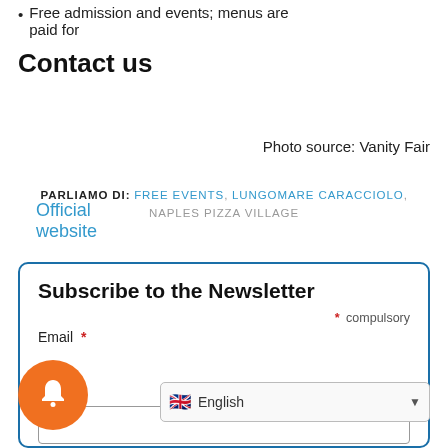Free admission and events; menus are paid for
Contact us
Official website
Photo source: Vanity Fair
PARLIAMO DI: FREE EVENTS, LUNGOMARE CARACCIOLO, NAPLES PIZZA VILLAGE
Subscribe to the Newsletter
* compulsory
Email *